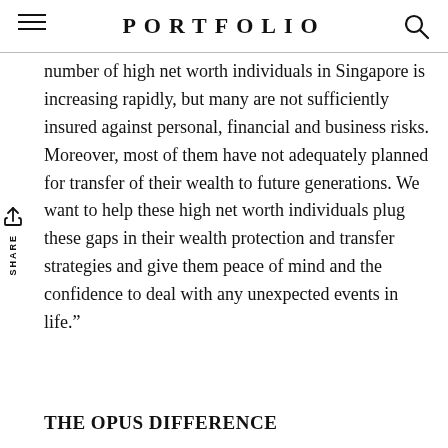PORTFOLIO
number of high net worth individuals in Singapore is increasing rapidly, but many are not sufficiently insured against personal, financial and business risks. Moreover, most of them have not adequately planned for transfer of their wealth to future generations. We want to help these high net worth individuals plug these gaps in their wealth protection and transfer strategies and give them peace of mind and the confidence to deal with any unexpected events in life.”
THE OPUS DIFFERENCE